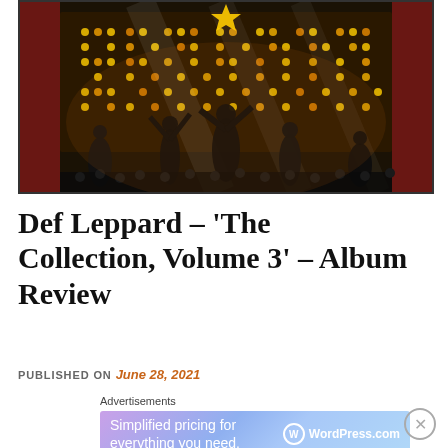[Figure (photo): Concert photo with silhouetted performers on stage against large illuminated LED backdrop spelling out letters in warm golden/yellow light. Dark crowd visible in foreground, dramatic stage lighting.]
Def Leppard – 'The Collection, Volume 3' – Album Review
PUBLISHED ON June 28, 2021
Advertisements Simplified pricing for everything you need. WordPress.com